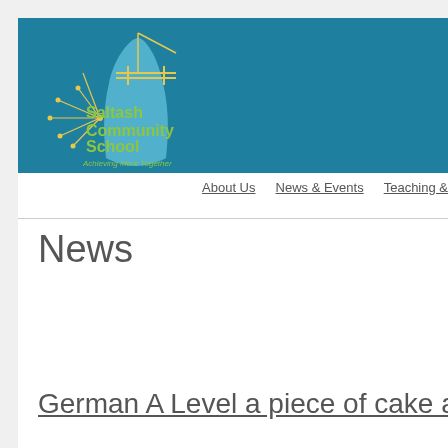[Figure (logo): Saltash Community School logo on teal/dark cyan banner background. Logo features a stylized blue vase/flask shape with yellow radiating lines and network nodes, with green text reading 'Saltash Community School' and italic text 'Achieving More Together'.]
About Us   News & Events   Teaching &
News
German A Level a piece of cake at